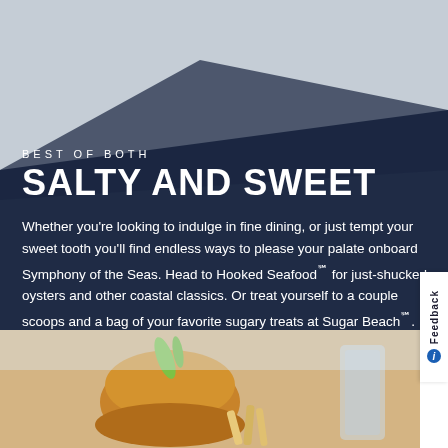[Figure (photo): Background photo of a dining/food scene on a cruise ship, partially visible, overlaid with dark navy color shape]
BEST OF BOTH
SALTY AND SWEET
Whether you're looking to indulge in fine dining, or just tempt your sweet tooth you'll find endless ways to please your palate onboard Symphony of the Seas. Head to Hooked Seafood℠ for just-shucked oysters and other coastal classics. Or treat yourself to a couple scoops and a bag of your favorite sugary treats at Sugar Beach℠.
[Figure (photo): Close-up food photo showing a burger or sandwich with chips/fries and a glass in the background, bright daylight setting]